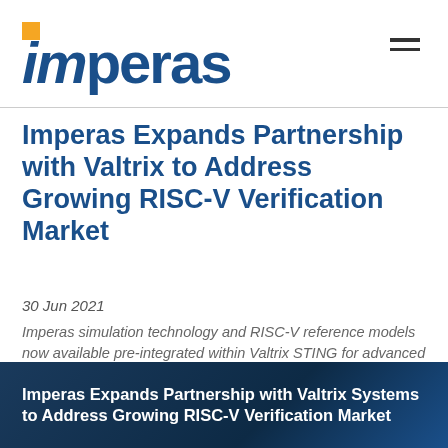imperas
Imperas Expands Partnership with Valtrix to Address Growing RISC-V Verification Market
30 Jun 2021
Imperas simulation technology and RISC-V reference models now available pre-integrated within Valtrix STING for advanced RISC-V Processor Verification.
[Figure (illustration): Dark blue banner image with white bold text reading: Imperas Expands Partnership with Valtrix Systems to Address Growing RISC-V Verification Market]